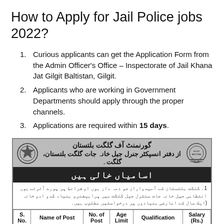How to Apply for Jail Police jobs 2022?
Curious applicants can get the Application Form from the Admin Officer's Office – Inspectorate of Jail Khana Jat Gilgit Baltistan, Gilgit.
Applicants who are working in Government Departments should apply through the proper channels.
Applications are required within 15 days.
[Figure (infographic): Government of Gilgit Baltistan jail police job advertisement in Urdu with logo, Urdu text header, banner reading 'اسامیاں خالی ہیں', Urdu body text, and a table with columns: S. No., Name of Post, No. of Post, Age Limit, Qualification, Salary (Rs.)]